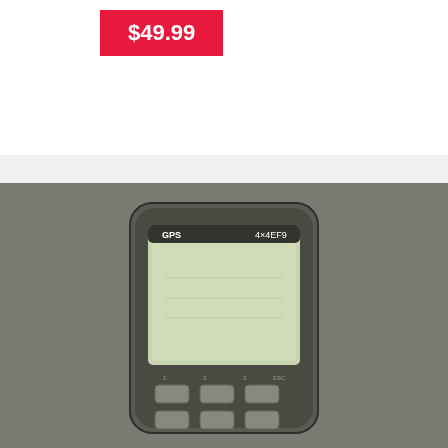$49.99
[Figure (photo): A GPS device or handheld electronic unit with a rectangular LCD screen, multiple buttons below, photographed on a gray background from above.]